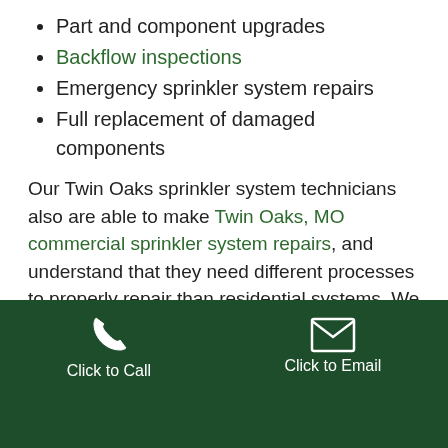Part and component upgrades
Backflow inspections
Emergency sprinkler system repairs
Full replacement of damaged components
Our Twin Oaks sprinkler system technicians also are able to make Twin Oaks, MO commercial sprinkler system repairs, and understand that they need different processes to properly repair than residential systems. We also offer preventative maintenance and regular service, and can spot potential problems before they turn into more expensive, major repairs.
Click to Call | Click to Email